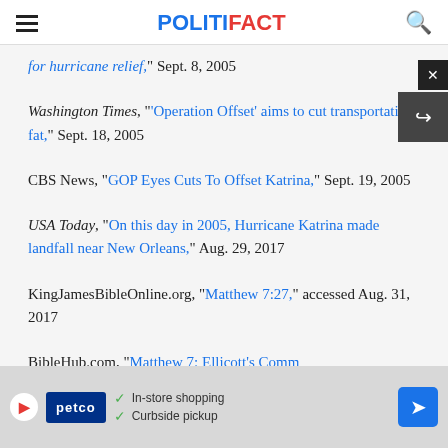POLITIFACT
for hurricane relief," Sept. 8, 2005
Washington Times, "'Operation Offset' aims to cut transportation fat," Sept. 18, 2005
CBS News, "GOP Eyes Cuts To Offset Katrina," Sept. 19, 2005
USA Today, "On this day in 2005, Hurricane Katrina made landfall near New Orleans," Aug. 29, 2017
KingJamesBibleOnline.org, "Matthew 7:27," accessed Aug. 31, 2017
BibleHub.com, "Matthew 7: Ellicott's Com[mentary...]," Aug. [31, 2017]